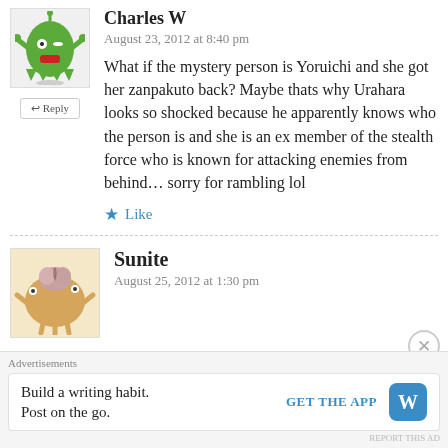Charles W
August 23, 2012 at 8:40 pm
What if the mystery person is Yoruichi and she got her zanpakuto back? Maybe thats why Urahara looks so shocked because he apparently knows who the person is and she is an ex member of the stealth force who is known for attacking enemies from behind… sorry for rambling lol
Like
Sunite
August 25, 2012 at 1:30 pm
Advertisements
Build a writing habit.
Post on the go.
GET THE APP